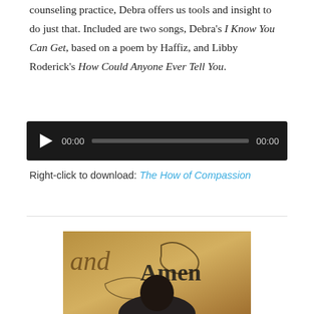counseling practice, Debra offers us tools and insight to do just that. Included are two songs, Debra's I Know You Can Get, based on a poem by Haffiz, and Libby Roderick's How Could Anyone Ever Tell You.
[Figure (other): Audio player widget with dark background, play button, time display showing 00:00, progress bar, and end time 00:00]
Right-click to download: The How of Compassion
[Figure (photo): Photograph showing a person with dark hair against a background with ornate calligraphic text and the word 'Amen' visible in stylized lettering on a golden/brown background]